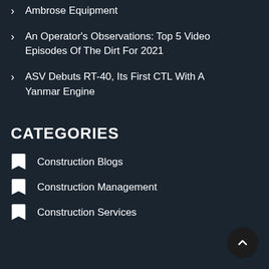Ambrose Equipment
An Operator's Observations: Top 5 Video Episodes Of The Dirt For 2021
ASV Debuts RT-40, Its First CTL With A Yanmar Engine
CATEGORIES
Construction Blogs
Construction Management
Construction Services